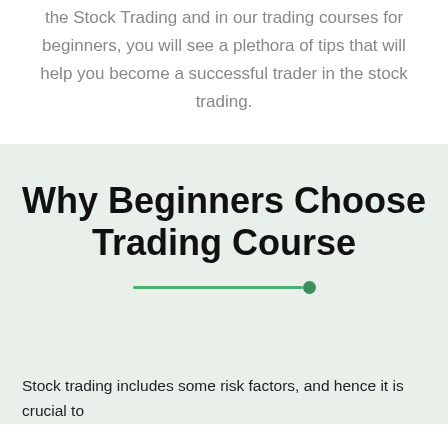the Stock Trading and in our trading courses for beginners, you will see a plethora of tips that will help you become a successful trader in the stock trading.
Why Beginners Choose Trading Course
Stock trading includes some risk factors, and hence it is crucial to